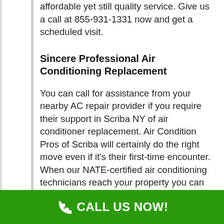affordable yet still quality service. Give us a call at 855-931-1331 now and get a scheduled visit.
Sincere Professional Air Conditioning Replacement
You can call for assistance from your nearby AC repair provider if you require their support in Scriba NY of air conditioner replacement. Air Condition Pros of Scriba will certainly do the right move even if it's their first-time encounter. When our NATE-certified air conditioning technicians reach your property you can be sure they will bring the right tools and will have the knowledge and abilities to undertake your AC replacement according to code. Their flow of works includes the task from a technician and accompanied by one final inspection executed by a Air Condition Pros of Scriba supervisor. The typical operating procedure is implemented to make sure the house would go through long-lasting cool environment. Our area of
CALL US NOW!